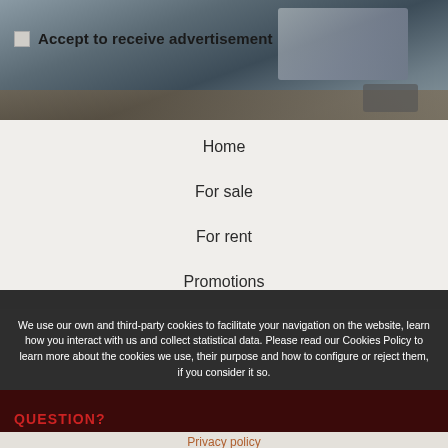[Figure (photo): Background photo of a laptop on a wooden desk with a smartphone, dark muted tones]
Accept to receive advertisement
Home
For sale
For rent
Promotions
We use our own and third-party cookies to facilitate your navigation on the website, learn how you interact with us and collect statistical data. Please read our Cookies Policy to learn more about the cookies we use, their purpose and how to configure or reject them, if you consider it so.
Accept all
Manage Cookies
Reject
QUESTION?
Privacy policy